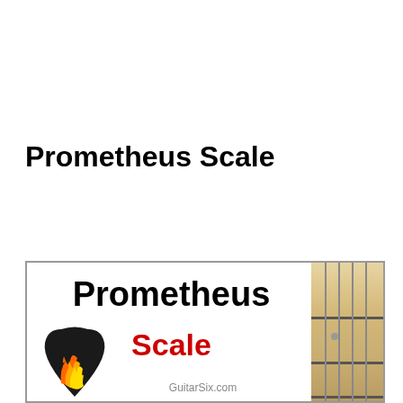Prometheus Scale
[Figure (illustration): A decorative image with a gray border showing the text 'Prometheus' in large bold black font and 'Scale' in large bold red font, with a guitar fretboard visible on the right side and a flaming guitar pick graphic on the lower left. GuitarSix.com watermark at the bottom center.]